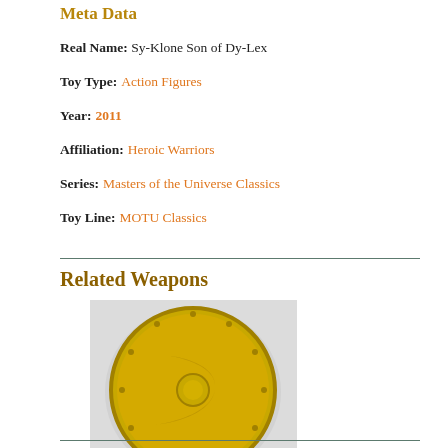Meta Data
Real Name: Sy-Klone Son of Dy-Lex
Toy Type: Action Figures
Year: 2011
Affiliation: Heroic Warriors
Series: Masters of the Universe Classics
Toy Line: MOTU Classics
Related Weapons
[Figure (photo): A golden/yellow circular shield toy accessory for Masters of the Universe Classics figure, shown on a light gray background with a small logo at the bottom.]